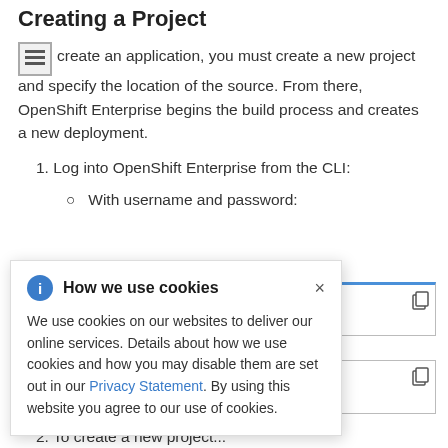Creating a Project
To create an application, you must create a new project and specify the location of the source. From there, OpenShift Enterprise begins the build process and creates a new deployment.
1. Log into OpenShift Enterprise from the CLI:
With username and password:
[Figure (screenshot): Code block showing partial CLI command with password parameter: p=<password>]
[Figure (screenshot): Code block showing partial CLI command with openshift reference]
[Figure (infographic): Cookie consent popup overlay: 'How we use cookies' - We use cookies on our websites to deliver our online services. Details about how we use cookies and how you may disable them are set out in our Privacy Statement. By using this website you agree to our use of cookies.]
2. To create a new project...